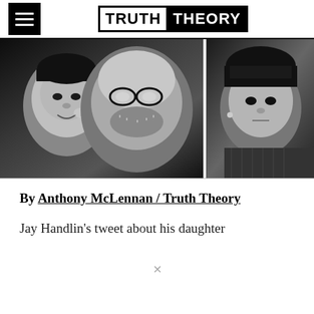TRUTH THEORY
[Figure (photo): Black and white photograph split into two panels: left panel shows a young boy with Down syndrome smiling next to an older man with glasses and stubble; right panel shows a young girl with Down syndrome looking at the camera]
By Anthony McLennan / Truth Theory
Jay Handlin's tweet about his daughter